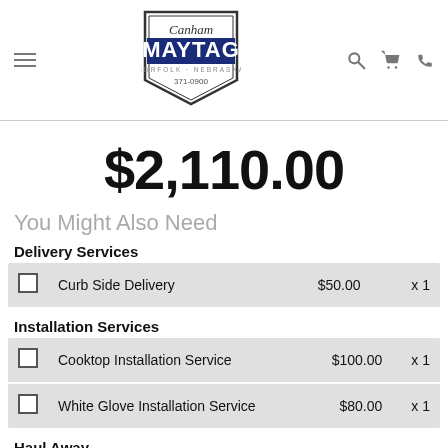[Figure (logo): Canham Maytag Norfolk Nebraska 371-0900 logo with hamburger menu, search, cart, and phone icons]
$2,110.00
You Might Also Need
Delivery Services
|  | Service | Price | Qty |
| --- | --- | --- | --- |
| ☐ | Curb Side Delivery | $50.00 | x 1 |
Installation Services
|  | Service | Price | Qty |
| --- | --- | --- | --- |
| ☐ | Cooktop Installation Service | $100.00 | x 1 |
| ☐ | White Glove Installation Service | $80.00 | x 1 |
Haul Away
|  | Service | Price | Qty |
| --- | --- | --- | --- |
| ☐ | Haul Away Service | $15.00 | x 1 |